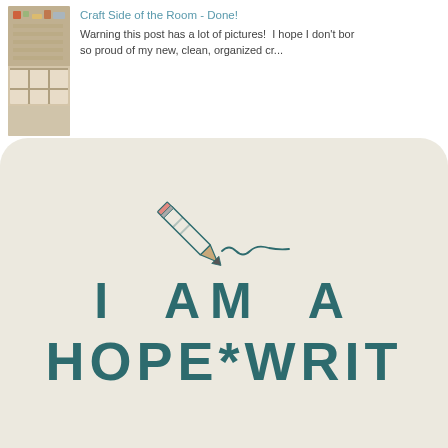[Figure (photo): Thumbnail photo of a craft room with shelves and cabinets]
Craft Side of the Room - Done!
Warning this post has a lot of pictures!  I hope I don't bor so proud of my new, clean, organized cr...
[Figure (logo): I AM A HOPE*WRITER logo on beige/cream rounded rectangle background with pencil illustration drawing a line]